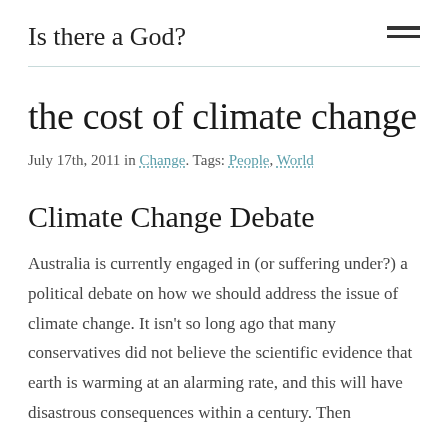Is there a God?
the cost of climate change
July 17th, 2011 in Change. Tags: People, World
Climate Change Debate
Australia is currently engaged in (or suffering under?) a political debate on how we should address the issue of climate change. It isn't so long ago that many conservatives did not believe the scientific evidence that earth is warming at an alarming rate, and this will have disastrous consequences within a century. Then